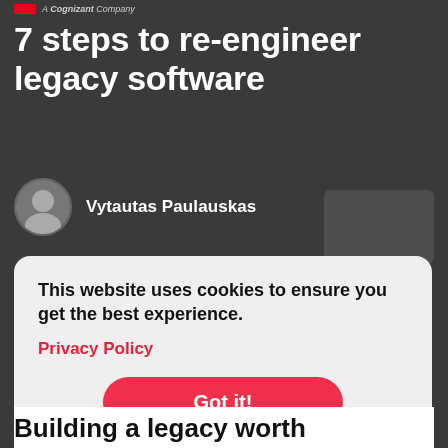A Cognizant Company
7 steps to re-engineer legacy software
Vytautas Paulauskas
This website uses cookies to ensure you get the best experience.
Privacy Policy
Got it!
Building a legacy worth